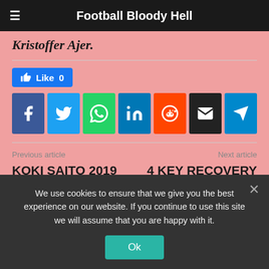Football Bloody Hell
Kristoffer Ajer.
[Figure (infographic): Social media share buttons: Facebook, Twitter, WhatsApp, LinkedIn, Reddit, Email, Telegram. Also a Like button showing 0 likes.]
Previous article
Next article
KOKI SAITO 2019 – SCOUT REPORT
4 KEY RECOVERY HACKS FOR FOOTBALL AMATEURS AND
We use cookies to ensure that we give you the best experience on our website. If you continue to use this site we will assume that you are happy with it.